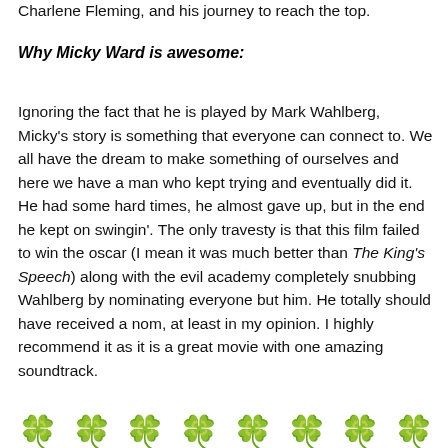Charlene Fleming, and his journey to reach the top.
Why Micky Ward is awesome:
Ignoring the fact that he is played by Mark Wahlberg, Micky's story is something that everyone can connect to. We all have the dream to make something of ourselves and here we have a man who kept trying and eventually did it. He had some hard times, he almost gave up, but in the end he kept on swingin'. The only travesty is that this film failed to win the oscar (I mean it was much better than The King's Speech) along with the evil academy completely snubbing Wahlberg by nominating everyone but him. He totally should have received a nom, at least in my opinion. I highly recommend it as it is a great movie with one amazing soundtrack.
[Figure (illustration): Eight green four-leaf clover emoji symbols arranged in a row at the bottom of the page.]